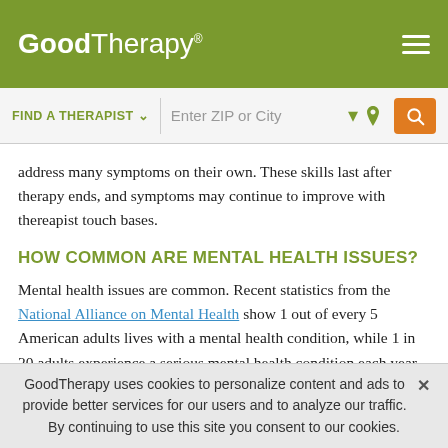GoodTherapy®
[Figure (screenshot): GoodTherapy website header with logo, hamburger menu, and search bar with 'FIND A THERAPIST' dropdown and 'Enter ZIP or City' input field with location icon and orange search button]
address many symptoms on their own. These skills last after therapy ends, and symptoms may continue to improve with thereapist touch bases.
HOW COMMON ARE MENTAL HEALTH ISSUES?
Mental health issues are common. Recent statistics from the National Alliance on Mental Health show 1 out of every 5 American adults lives with a mental health condition, while 1 in 20 adults experience a serious mental health condition each year. 1 in 6 U.S. youth age 6-17 experience a mental
GoodTherapy uses cookies to personalize content and ads to provide better services for our users and to analyze our traffic. By continuing to use this site you consent to our cookies.